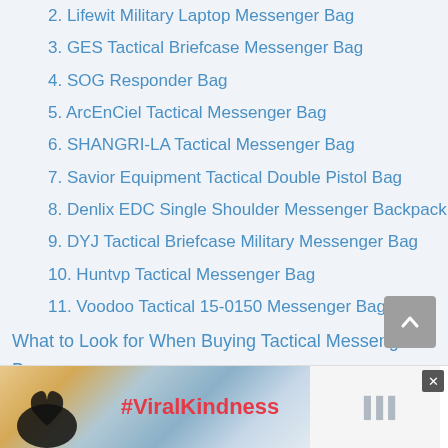2. Lifewit Military Laptop Messenger Bag
3. GES Tactical Briefcase Messenger Bag
4. SOG Responder Bag
5. ArcEnCiel Tactical Messenger Bag
6. SHANGRI-LA Tactical Messenger Bag
7. Savior Equipment Tactical Double Pistol Bag
8. Denlix EDC Single Shoulder Messenger Backpack
9. DYJ Tactical Briefcase Military Messenger Bag
10. Huntvp Tactical Messenger Bag
11. Voodoo Tactical 15-0150 Messenger Bag
What to Look for When Buying Tactical Messenger Bags
Are Tactical Messenger Bags Out of Style
What Should I Carry in My Tactical Messenger Bag
Which is Better Tactical Messenger Bag or Backpack
How Do I Stop My Messenger Bag From Sliding
[Figure (infographic): Advertisement banner with heart-hands silhouette and #ViralKindness text]